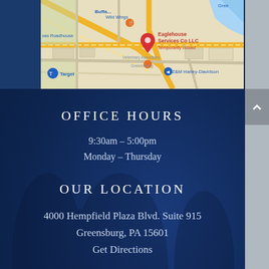[Figure (map): Google Maps screenshot showing Eaglehouse Services Co LLC location near Greensburg, PA, marked as Temporarily closed. Nearby landmarks include Buffalo Wild Wings, Texas Roadhouse, Target, Z&M Harley-Davidson, and Greensburg Veterinary Associates.]
OFFICE HOURS
9:30am – 5:00pm
Monday – Thursday
OUR LOCATION
4000 Hempfield Plaza Blvd. Suite 915
Greensburg, PA 15601
Get Directions